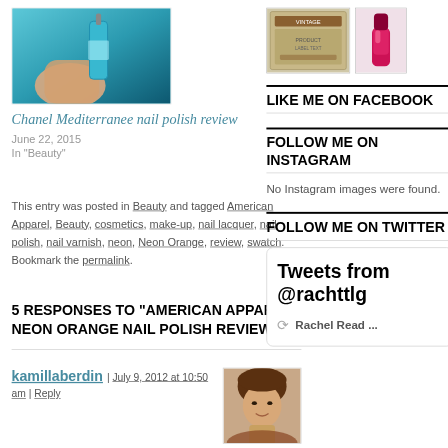[Figure (photo): Hand holding a teal/turquoise nail polish bottle]
Chanel Mediterranee nail polish review
June 22, 2015
In "Beauty"
This entry was posted in Beauty and tagged American Apparel, Beauty, cosmetics, make-up, nail lacquer, nail polish, nail varnish, neon, Neon Orange, review, swatch. Bookmark the permalink.
5 RESPONSES TO "AMERICAN APPAREL NEON ORANGE NAIL POLISH REVIEW"
kamillaberdin | July 9, 2012 at 10:50 am | Reply
[Figure (photo): Profile photo of commenter kamillaberdin, a woman with brown hair]
This colour looks very sick, I hope
[Figure (photo): Sidebar image showing a vintage/retro style product label or advertisement]
[Figure (photo): Sidebar image showing a pink/magenta nail polish bottle]
LIKE ME ON FACEBOOK
FOLLOW ME ON INSTAGRAM
No Instagram images were found.
FOLLOW ME ON TWITTER
Tweets from @rachttlg
Rachel Read ...